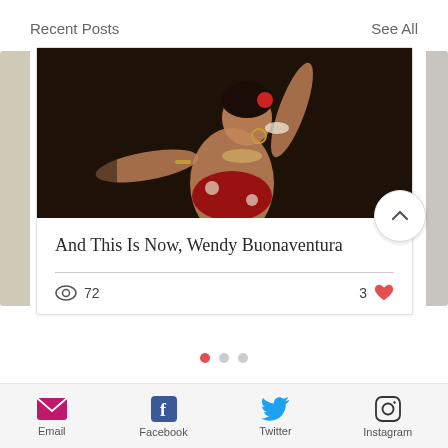Recent Posts
See All
[Figure (photo): A female dancer in colorful costume with arms raised against a dark background]
And This Is Now, Wendy Buonaventura
72 views, 3 likes
Email  Facebook  Twitter  Instagram